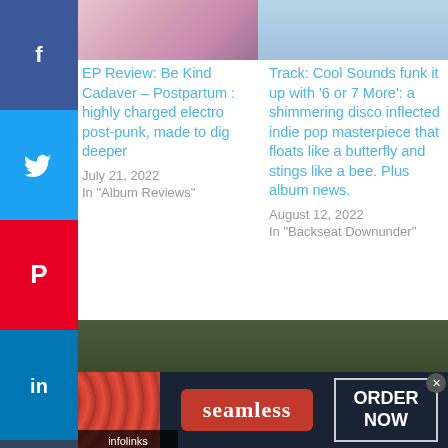[Figure (photo): Social media share buttons sidebar: Facebook (blue), Twitter (blue), Pinterest (red), LinkedIn (blue), Tumblr (dark)]
[Figure (photo): Top left article image - colorful abstract/geometric art]
[Figure (photo): Top right article image - person in light yellow shirt against blue background]
EP Review: Be Kind Cadaver – Postpartum : highly charged electro post-punk, made to dig deeper
July 21, 2022
In "Album Reviews"
Track: Cool Sounds funk it up with '6 or 7 More': a shimmering disco inflected indie pop masterpiece that floats like a butterfly and stings like a bee. Plus album news.
August 12, 2022
In "Backseat Downunder"
[Figure (photo): Band photo - group of men standing outdoors]
infolinks
[Figure (photo): Seamless food delivery advertisement banner with pizza image, seamless logo, and ORDER NOW button]